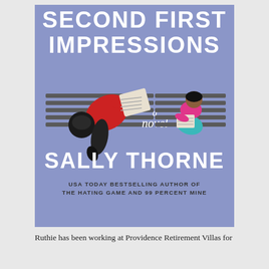[Figure (illustration): Book cover for 'Second First Impressions' by Sally Thorne. Light periwinkle/lavender blue background. Large white bold text at top reads 'SECOND FIRST IMPRESSIONS'. Below title, two illustrated figures sit on separate park benches viewed from above: on the left, a figure in a red shirt and dark pants leaning over reading a newspaper; on the right, a smaller figure in a pink/magenta top and teal pants curled up reading a book. Center text in white italic script reads 'a novel'. Large white bold text at bottom reads 'SALLY THORNE'. Below that in smaller dark text: 'USA TODAY BESTSELLING AUTHOR OF THE HATING GAME AND 99 PERCENT MINE'.]
Ruthie has been working at Providence Retirement Villas for